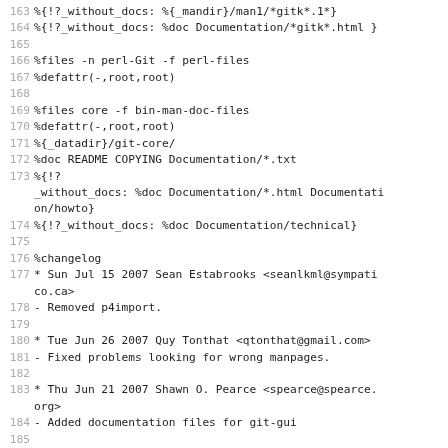Code listing lines 163-189+: RPM spec file content including %files, %defattr, %doc, %changelog entries